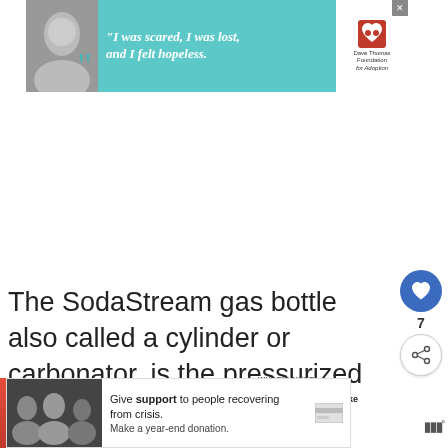[Figure (screenshot): Advertisement banner for Dave Thomas Foundation for Adoption with teal background, person photo, quote text 'I was scared, I was lost, and I felt hopeless', and charity logo with heart icon.]
The SodaStream gas bottle also called a cylinder or carbonator, is the pressurized aluminum canister in which CO2 is properly stored.
[Figure (screenshot): WHAT'S NEXT panel showing thumbnail image of sparkling water drink with text 'How to Make Flavored...']
[Figure (screenshot): Advertisement banner: 'Give support to people recovering from crisis. Make a year-end donation.' with family photo.]